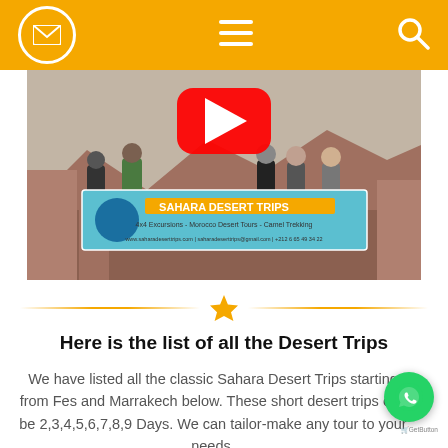Sahara Desert Trips – navigation header with mail, menu, and search icons
[Figure (photo): Group of people holding a Sahara Desert Trips banner outdoors with desert/mountain landscape. YouTube play button overlay visible.]
★ (decorative star divider)
Here is the list of all the Desert Trips
We have listed all the classic Sahara Desert Trips starting from Fes and Marrakech below. These short desert trips can be 2,3,4,5,6,7,8,9 Days. We can tailor-make any tour to your needs.